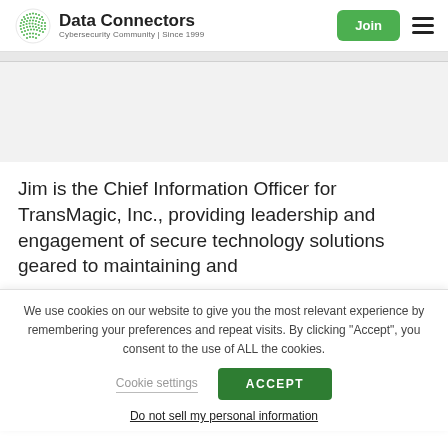Data Connectors — Cybersecurity Community | Since 1999
Jim is the Chief Information Officer for TransMagic, Inc., providing leadership and engagement of secure technology solutions geared to maintaining and
We use cookies on our website to give you the most relevant experience by remembering your preferences and repeat visits. By clicking "Accept", you consent to the use of ALL the cookies.
Cookie settings
ACCEPT
Do not sell my personal information